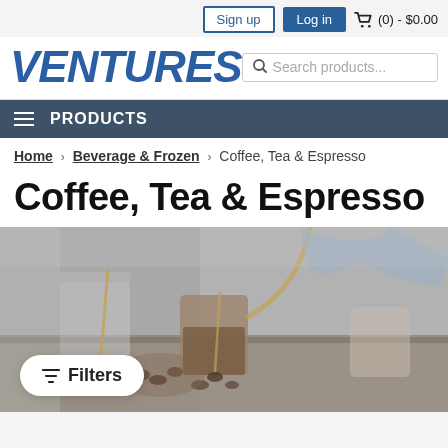Sign up  Log in  (0) - $0.00
[Figure (logo): VENTURES logo in bold italic blue text]
Search products...
PRODUCTS
Home > Beverage & Frozen > Coffee, Tea & Espresso
Coffee, Tea & Espresso
[Figure (photo): Coffee scene: glass mugs, coffee beans on a table, a hand pouring coffee from a kettle, soft grey/brown tones]
Filters